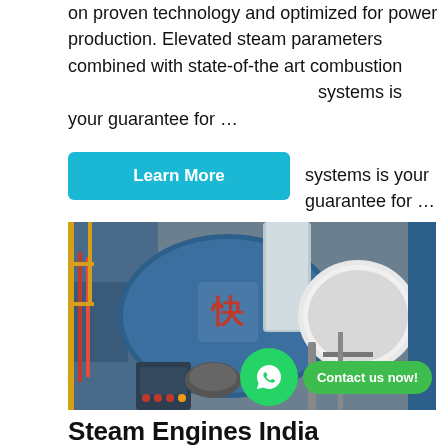on proven technology and optimized for power production. Elevated steam parameters combined with state-of-the art combustion systems is your guarantee for …
Learn More
[Figure (photo): Industrial boiler/steam engine equipment in a factory setting, showing large blue cylindrical boiler with burner assembly, piping, and control panels.]
Steam Engines India
FOR SALE Steam Engines and Boilers. Various Sizes. For further M K. Desai. Telephone:- India 91 281 243 1086 Email:-
Hello, Helen here, from Boiler factory 🏭